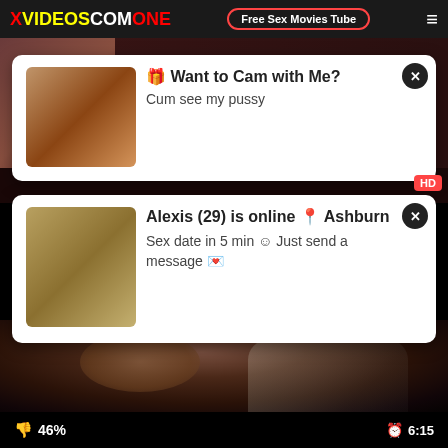XVIDEOS COM ONE — Free Sex Movies Tube
[Figure (screenshot): Video thumbnail background with dark reddish tones]
🎁 Want to Cam with Me?
Cum see my pussy
[Figure (screenshot): Second popup with photo of woman]
Alexis (29) is online 📍 Ashburn
Sex date in 5 min ☺ Just send a message 💌
[Figure (photo): Main video thumbnail showing a woman lying down in a white and black top]
👎 46%
⏰ 6:15